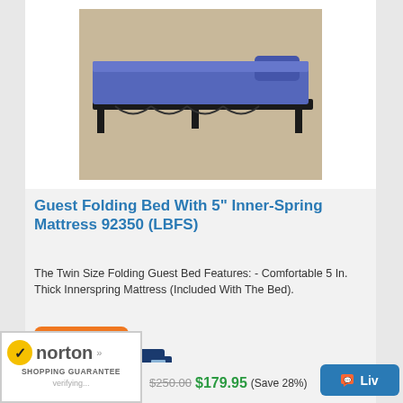[Figure (photo): Folding guest bed with blue mattress on a metal frame]
Guest Folding Bed With 5" Inner-Spring Mattress 92350 (LBFS)
The Twin Size Folding Guest Bed Features: - Comfortable 5 In. Thick Innerspring Mattress (Included With The Bed).
[Figure (infographic): FREE SHIPPING badge with delivery truck graphic]
[Figure (logo): Norton Shopping Guarantee badge with verifying... text]
$250.00 $179.95 (Save 28%)